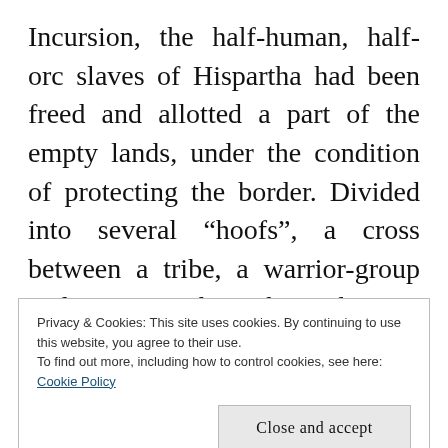Incursion, the half-human, half-orc slaves of Hispartha had been freed and allotted a part of the empty lands, under the condition of protecting the border. Divided into several “hoofs”, a cross between a tribe, a warrior-group and a gang, they share the Lot Lands with insular and dangerous elves, unlucky and demoralized soldiers banished from Hispartha to the ungrateful task of manning the castilles along the border, religiously-
Privacy & Cookies: This site uses cookies. By continuing to use this website, you agree to their use.
To find out more, including how to control cookies, see here: Cookie Policy
moving masses of black, sticky goo